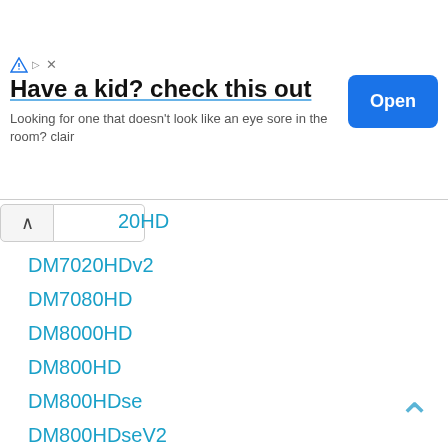[Figure (screenshot): Advertisement banner: 'Have a kid? check this out' with Open button]
Have a kid? check this out
Looking for one that doesn't look like an eye sore in the room? clair
20HD
DM7020HDv2
DM7080HD
DM8000HD
DM800HD
DM800HDse
DM800HDseV2
DM820HD
DM900UHD
DM920UHD
DREAMBOX